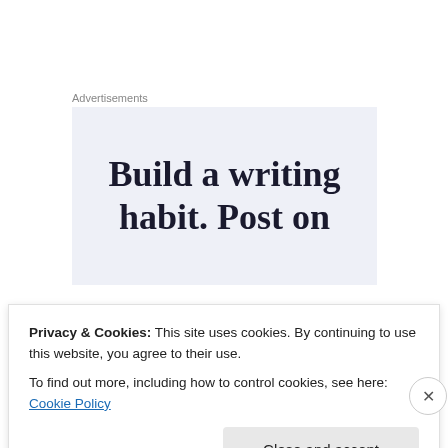Advertisements
[Figure (illustration): Advertisement banner with light blue/grey background and large serif text reading 'Build a writing habit. Post on']
This documentary is highly recommended for any FtM pre-op transsexual who is considering the next step. It doesn't sugar coat anything, but still manages to convey a
Privacy & Cookies: This site uses cookies. By continuing to use this website, you agree to their use.
To find out more, including how to control cookies, see here: Cookie Policy
Close and accept